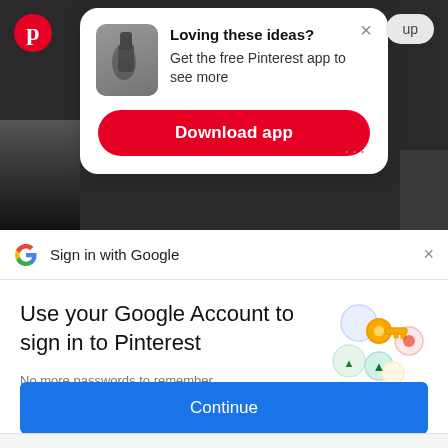[Figure (screenshot): Pinterest app download popup card on dark background showing a thumbnail image of a hand holding a phone, with bold heading 'Loving these ideas?', subtitle 'Get the free Pinterest app to see more', and a red 'Download app' button. Pinterest logo top left, X close button top right, 'up' chip top right, three dots bottom right.]
Loving these ideas?
Get the free Pinterest app to see more
Download app
[Figure (screenshot): Google Sign in with Google bar showing the Google multicolor G logo and text 'Sign in with Google' with an X dismiss button on the right.]
Sign in with Google
Use your Google Account to sign in to Pinterest
No more passwords to remember.
Signing in is fast, simple and secure.
[Figure (illustration): Google key illustration showing a golden key with colorful circles representing Google sign in security.]
Continue